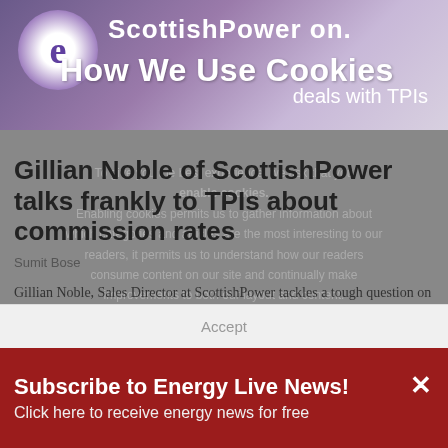[Figure (screenshot): ScottishPower website header banner with logo circle containing letter 'e', 'ScottishPower on.' text, and 'deals with TPIs' subtext]
Gillian Noble of ScottishPower talks frankly to TPIs about commission rates
Sumit Bose
Gillian Noble, Sales Director at ScottishPower tackles a tough question on transparency of fees and commission rates, from a member of the TPI audience at the recent Energy Live Consultancy Conference.
How We Use Cookies
To give you the best experience, we ask that you enable cookies.
Enabling cookies permits us to gather information about which categories and articles are the most interesting to our readers, it permits us to understand how our readers consume content on our site and continually make improvements to both our layout and content.
To change your preferences please check our cookie policy.
Cookie Policy
Reject
Accept
Subscribe to Energy Live News!
Click here to receive energy news for free